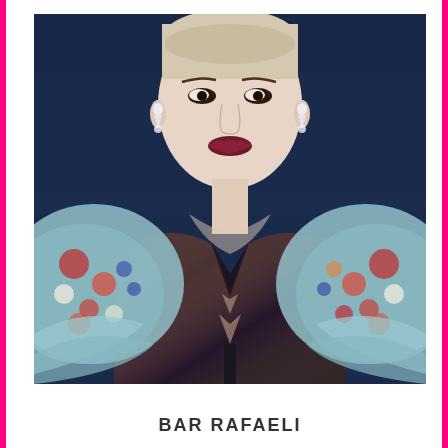[Figure (photo): Portrait photo of Bar Rafaeli. A woman with pale skin, dark lips, and hair pulled back, wearing diamond drop earrings and a floral organza dress with large puffed sleeves over a sequined deep-V bodice. Background is dark blue.]
BAR RAFAELI